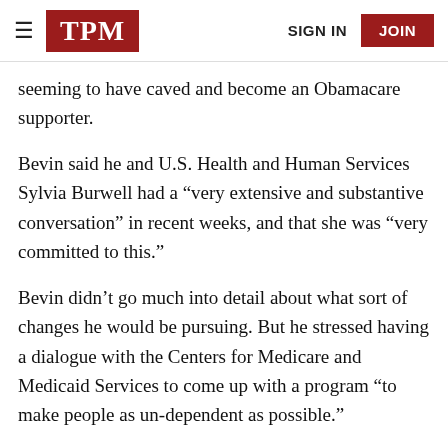TPM | SIGN IN | JOIN
seeming to have caved and become an Obamacare supporter.
Bevin said he and U.S. Health and Human Services Sylvia Burwell had a “very extensive and substantive conversation” in recent weeks, and that she was “very committed to this.”
Bevin didn’t go much into detail about what sort of changes he would be pursuing. But he stressed having a dialogue with the Centers for Medicare and Medicaid Services to come up with a program “to make people as un-dependent as possible.”